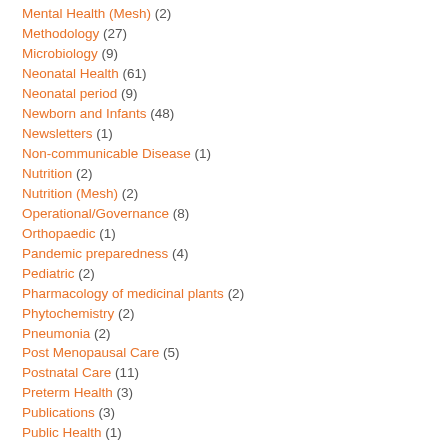Mental Health (Mesh) (2)
Methodology (27)
Microbiology (9)
Neonatal Health (61)
Neonatal period (9)
Newborn and Infants (48)
Newsletters (1)
Non-communicable Disease (1)
Nutrition (2)
Nutrition (Mesh) (2)
Operational/Governance (8)
Orthopaedic (1)
Pandemic preparedness (4)
Pediatric (2)
Pharmacology of medicinal plants (2)
Phytochemistry (2)
Pneumonia (2)
Post Menopausal Care (5)
Postnatal Care (11)
Preterm Health (3)
Publications (3)
Public Health (1)